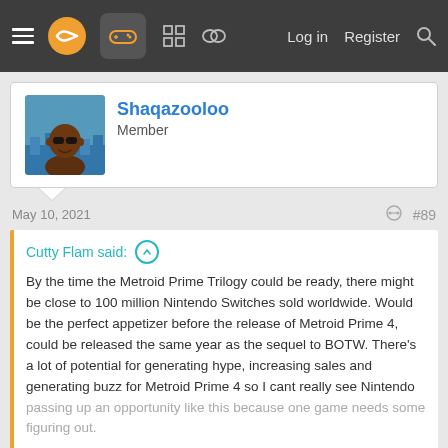Navigation bar with menu, logo, gamepad icon, grid icon, chat icon, Log in, Register, Search
Shaqazooloo
Member
May 10, 2021  #89
Cutty Flam said: ↑
By the time the Metroid Prime Trilogy could be ready, there might be close to 100 million Nintendo Switches sold worldwide. Would be the perfect appetizer before the release of Metroid Prime 4, could be released the same year as the sequel to BOTW. There's a lot of potential for generating hype, increasing sales and generating buzz for Metroid Prime 4 so I cant really see Nintendo passing up an opportunity like this because one game needs some figuring out.
Click to expand...
I wasnt talking about the Wii U release, MPT sold less than 1 million on Wii.